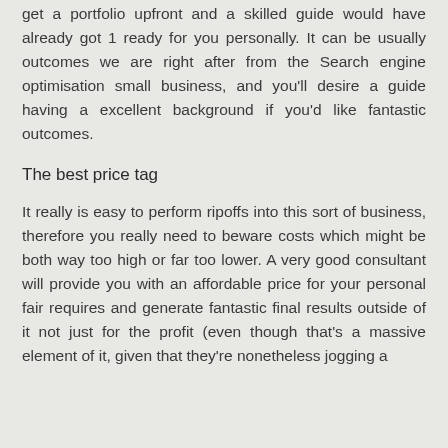get a portfolio upfront and a skilled guide would have already got 1 ready for you personally. It can be usually outcomes we are right after from the Search engine optimisation small business, and you'll desire a guide having a excellent background if you'd like fantastic outcomes.
The best price tag
It really is easy to perform ripoffs into this sort of business, therefore you really need to beware costs which might be both way too high or far too lower. A very good consultant will provide you with an affordable price for your personal fair requires and generate fantastic final results outside of it not just for the profit (even though that's a massive element of it, given that they're nonetheless jogging a